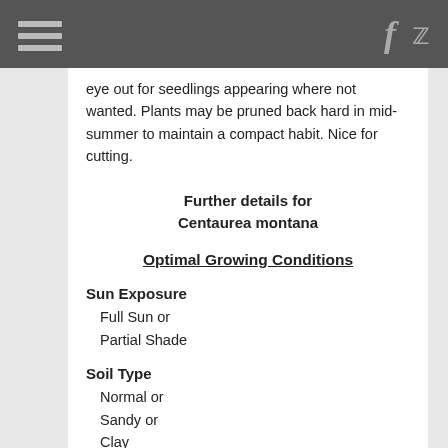[Navigation bar with hamburger menu, Facebook icon, Twitter icon]
eye out for seedlings appearing where not wanted. Plants may be pruned back hard in mid-summer to maintain a compact habit. Nice for cutting.
Further details for Centaurea montana
Optimal Growing Conditions
Sun Exposure
Full Sun or
Partial Shade
Soil Type
Normal or
Sandy or
Clay